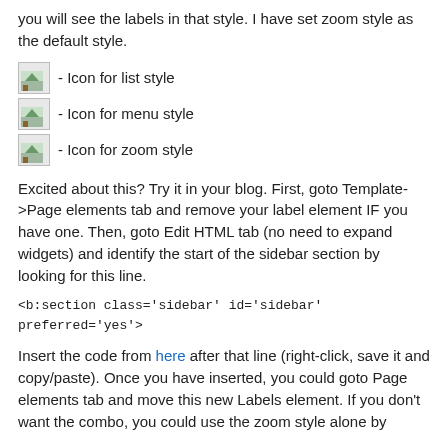you will see the labels in that style. I have set zoom style as the default style.
- Icon for list style
- Icon for menu style
- Icon for zoom style
Excited about this? Try it in your blog. First, goto Template->Page elements tab and remove your label element IF you have one. Then, goto Edit HTML tab (no need to expand widgets) and identify the start of the sidebar section by looking for this line.
Insert the code from here after that line (right-click, save it and copy/paste). Once you have inserted, you could goto Page elements tab and move this new Labels element. If you don't want the combo, you could use the zoom style alone by